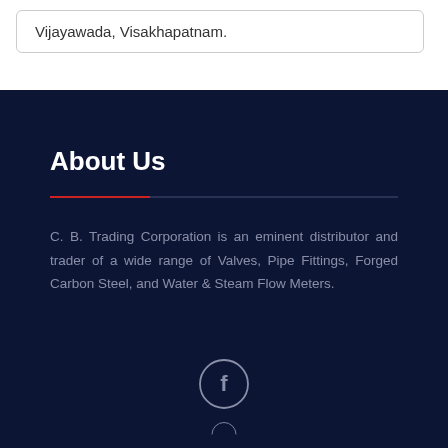Vijayawada, Visakhapatnam.
About Us
C. B. Trading Corporation is an eminent distributor and trader of a wide range of Valves, Pipe Fittings, Forged Carbon Steel, and Water & Steam Flow Meters.
[Figure (illustration): Facebook social media icon circle with letter f, and a partially visible second social icon circle below it]